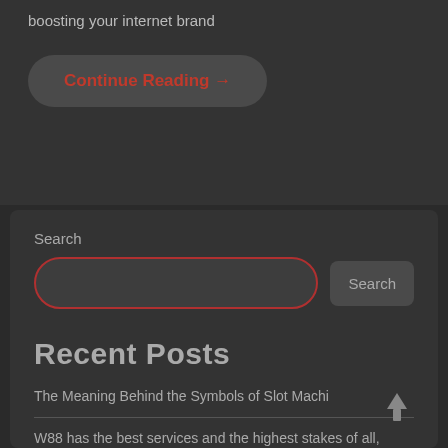boosting your internet brand
Continue Reading →
Search
[Figure (screenshot): Search input box with red border and Search button]
Recent Posts
The Meaning Behind the Symbols of Slot Machines
W88 has the best services and the highest stakes of all, keeping its reputation high.